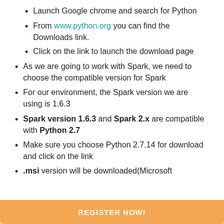Launch Google chrome and search for Python
From www.python.org you can find the Downloads link.
Click on the link to launch the download page
As we are going to work with Spark, we need to choose the compatible version for Spark
For our environment, the Spark version we are using is 1.6.3
Spark version 1.6.3 and Spark 2.x are compatible with Python 2.7
Make sure you choose Python 2.7.14 for download and click on the link
.msi version will be downloaded(Microsoft
REGISTER NOW!